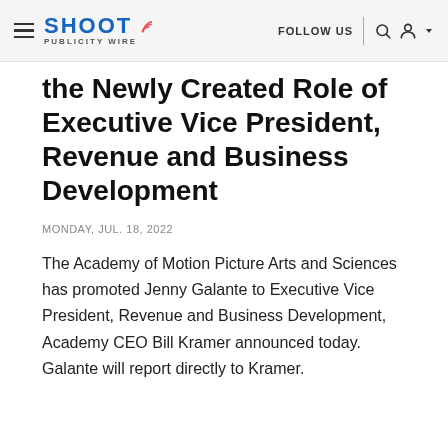SHOOT PUBLICITY WIRE — FOLLOW US
the Newly Created Role of Executive Vice President, Revenue and Business Development
MONDAY, JUL. 18, 2022
The Academy of Motion Picture Arts and Sciences has promoted Jenny Galante to Executive Vice President, Revenue and Business Development, Academy CEO Bill Kramer announced today. Galante will report directly to Kramer.